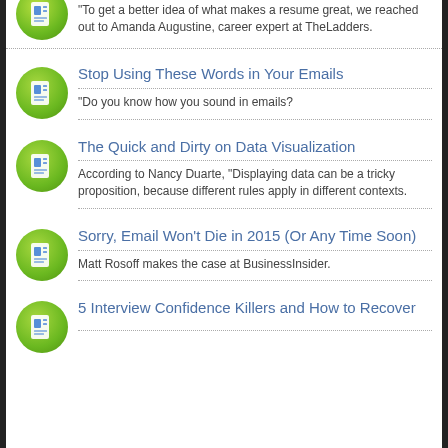"To get a better idea of what makes a resume great, we reached out to Amanda Augustine, career expert at TheLadders.
Stop Using These Words in Your Emails
"Do you know how you sound in emails?
The Quick and Dirty on Data Visualization
According to Nancy Duarte, "Displaying data can be a tricky proposition, because different rules apply in different contexts.
Sorry, Email Won't Die in 2015 (Or Any Time Soon)
Matt Rosoff makes the case at BusinessInsider.
5 Interview Confidence Killers and How to Recover